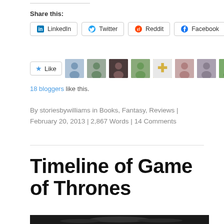Share this:
LinkedIn  Twitter  Reddit  Facebook
★ Like  [18 blogger avatar thumbnails]
18 bloggers like this.
By storiesbywilliams in Books, Fantasy, Reviews | February 20, 2013 | 2,867 Words | 14 Comments
Timeline of Game of Thrones
[Figure (photo): Dark background image partially visible at page bottom, appears to be a Game of Thrones related photo]